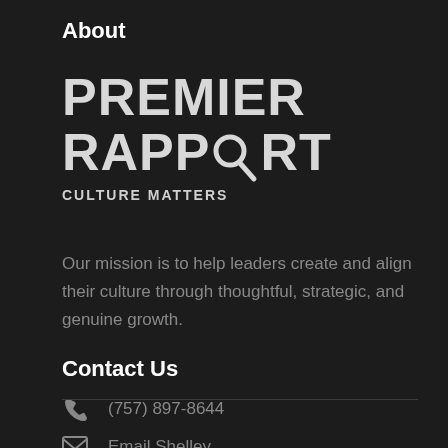About
[Figure (logo): Premier Rapport logo with magnifying glass incorporated into the O in RAPPORT, and tagline CULTURE MATTERS]
Our mission is to help leaders create and align their culture through thoughtful, strategic, and genuine growth.
Contact Us
(757) 897-8644
Email Shelley